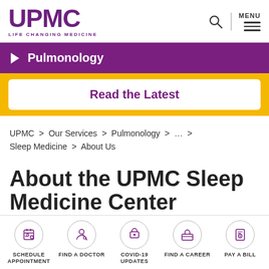UPMC LIFE CHANGING MEDICINE
Pulmonology
Read the Latest
UPMC > Our Services > Pulmonology > … > Sleep Medicine > About Us
About the UPMC Sleep Medicine Center
SCHEDULE APPOINTMENT | FIND A DOCTOR | COVID-19 UPDATES | FIND A CAREER | PAY A BILL